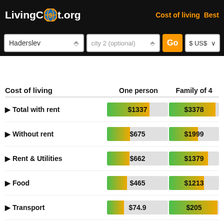LivingCost.org — Cost of living | Best
[Figure (infographic): Search bar with city selectors: Haderslev, city 2 (optional), Go button, $ USD currency selector]
| Cost of living | One person | Family of 4 |
| --- | --- | --- |
| ▶ Total with rent | $1337 | $3378 |
| ▶ Without rent | $675 | $1999 |
| ▶ Rent & Utilities | $662 | $1379 |
| ▶ Food | $465 | $1213 |
| ▶ Transport | $74.9 | $205 |
| ▶ Monthly salary after tax | $3077 |  |
| ⊕ Quality of life | 69 |  |